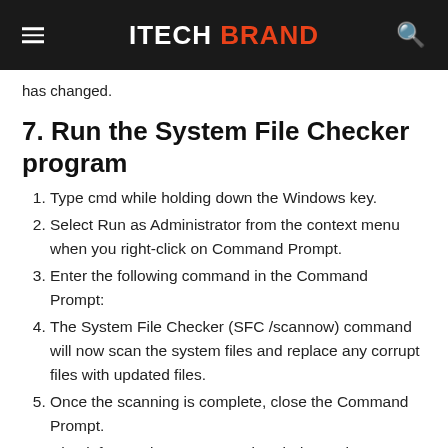ITECH BRAND
has changed.
7. Run the System File Checker program
Type cmd while holding down the Windows key.
Select Run as Administrator from the context menu when you right-click on Command Prompt.
Enter the following command in the Command Prompt:
The System File Checker (SFC /scannow) command will now scan the system files and replace any corrupt files with updated files.
Once the scanning is complete, close the Command Prompt.
Check for any improvements in Windows Photo Viewer.
Conclusion